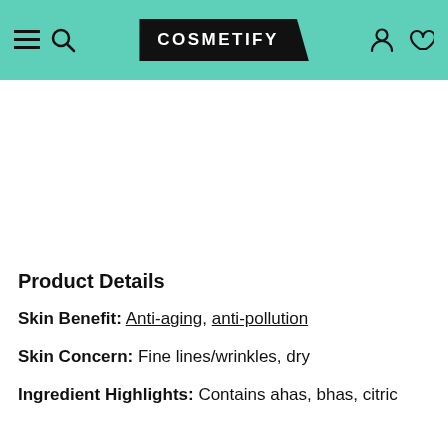COSMETIFY
Product Details
Skin Benefit: Anti-aging, anti-pollution
Skin Concern: Fine lines/wrinkles, dry
Ingredient Highlights: Contains ahas, bhas, citric